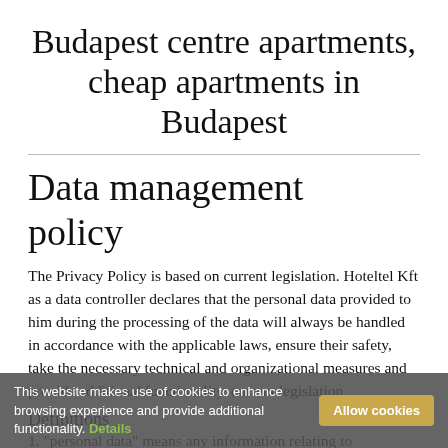Budapest centre apartments, cheap apartments in Budapest
Data management policy
The Privacy Policy is based on current legislation. Hoteltel Kft as a data controller declares that the personal data provided to him during the processing of the data will always be handled in accordance with the applicable laws, ensure their safety, take the necessary technical and organizational measures and provide additional functionality. current legislation.
Definitions
1. "personal data" means any information relating to
This website makes use of cookies to enhance browsing experience and provide additional functionality. Details Allow cookies